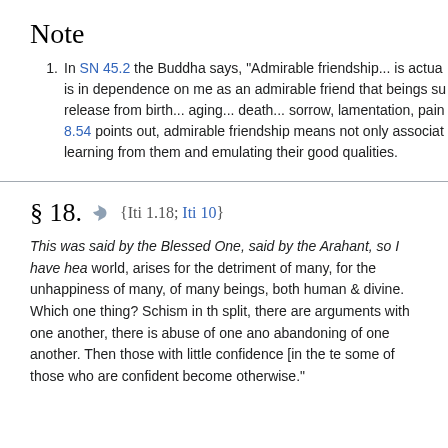Note
1. In SN 45.2 the Buddha says, "Admirable friendship... is actua is in dependence on me as an admirable friend that beings su release from birth... aging... death... sorrow, lamentation, pain 8.54 points out, admirable friendship means not only associat learning from them and emulating their good qualities.
§ 18. {Iti 1.18; Iti 10}
This was said by the Blessed One, said by the Arahant, so I have hea world, arises for the detriment of many, for the unhappiness of many, of many beings, both human & divine. Which one thing? Schism in th split, there are arguments with one another, there is abuse of one and abandoning of one another. Then those with little confidence [in the te some of those who are confident become otherwise."